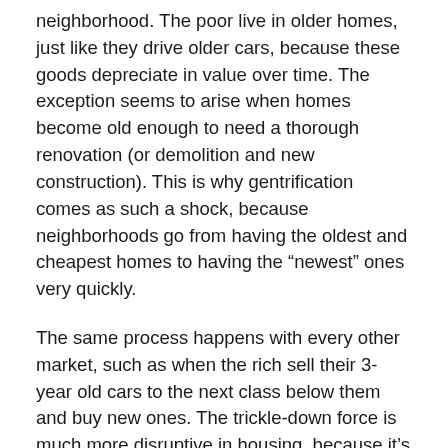neighborhood. The poor live in older homes, just like they drive older cars, because these goods depreciate in value over time. The exception seems to arise when homes become old enough to need a thorough renovation (or demolition and new construction). This is why gentrification comes as such a shock, because neighborhoods go from having the oldest and cheapest homes to having the “newest” ones very quickly.
The same process happens with every other market, such as when the rich sell their 3-year old cars to the next class below them and buy new ones. The trickle-down force is much more disruptive in housing, because it’s harder to move, communities form roots, and people grow emotionally attached to place.